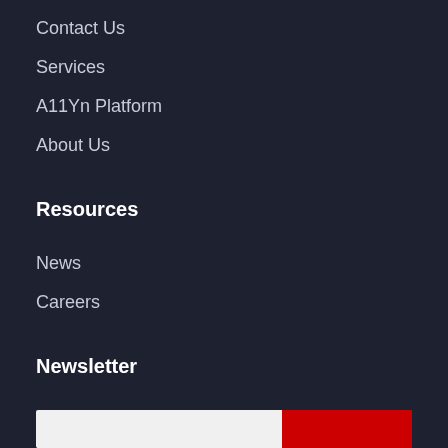Contact Us
Services
A11Yn Platform
About Us
Resources
News
Careers
Newsletter
Sign up for digital accessibility offers, events, news, training, tools and more.